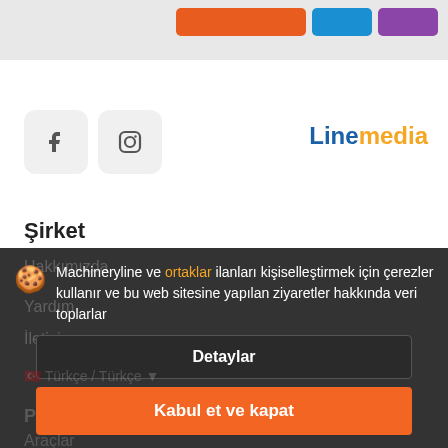[Figure (screenshot): Social media icons: Facebook and Instagram rounded square buttons]
[Figure (logo): Linemedia logo with 'Line' in blue and 'media' in orange]
Şirket
Machineryline ve ortaklar ilanları kişiselleştirmek için çerezler kullanır ve bu web sitesine yapılan ziyaretler hakkında veri toplarlar
Detaylar
Kabul et ve kapat